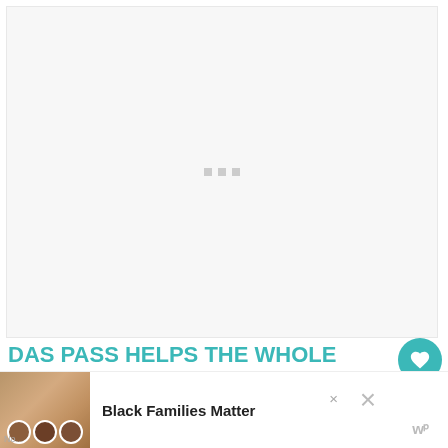[Figure (other): Large light gray image placeholder area with three small gray square loading indicator dots centered in the middle]
DAS PASS HELPS THE WHOLE FAMILY
[Figure (photo): Advertisement banner showing smiling Black family members (children) with a white bow accessory. Ad text reads 'Black Families Matter'. Close buttons and a teal colored bar visible on the right side along with a W logo watermark.]